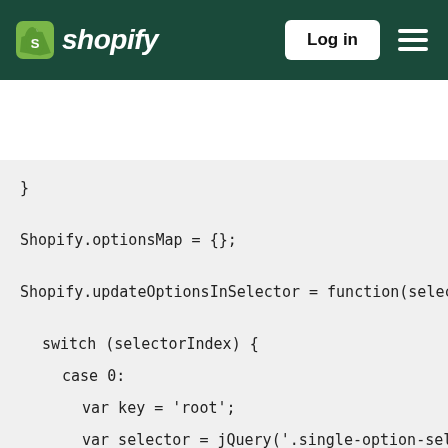Shopify — Log in
}

Shopify.optionsMap = {};

Shopify.updateOptionsInSelector = function(selecto

  switch (selectorIndex) {
    case 0:
      var key = 'root';
      var selector = jQuery('.single-option-select
      break;
    case 1:
      var key = jQuery('.single-option-selector:eq
      var selector = jQuery('.single-option-select
      break;
    case 2:
      var key = jQuery('.single-option-selector:eq